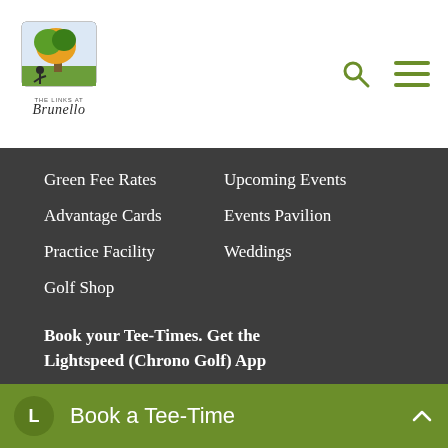[Figure (logo): Brunello Golf Course logo - colorful tree illustration with 'Brunello' script text below]
[Figure (other): Search icon (magnifying glass) and hamburger menu icon in olive/green color]
Green Fee Rates
Advantage Cards
Practice Facility
Golf Shop
Upcoming Events
Events Pavilion
Weddings
Book your Tee-Times. Get the Lightspeed (Chrono Golf) App
[Figure (other): Download on the App Store badge - black background with Apple logo]
[Figure (other): Get it on Google Play badge - black background with colorful Google Play arrow logo]
Book a Tee-Time